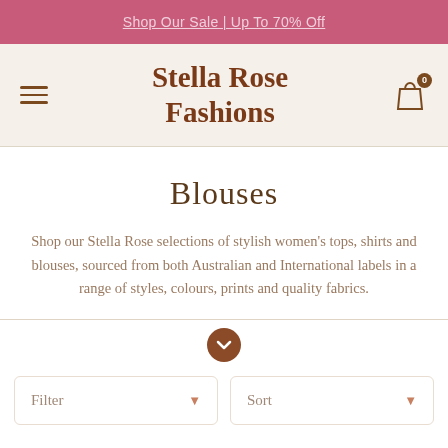Shop Our Sale | Up To 70% Off
Stella Rose Fashions
Blouses
Shop our Stella Rose selections of stylish women's tops, shirts and blouses, sourced from both Australian and International labels in a range of styles, colours, prints and quality fabrics.